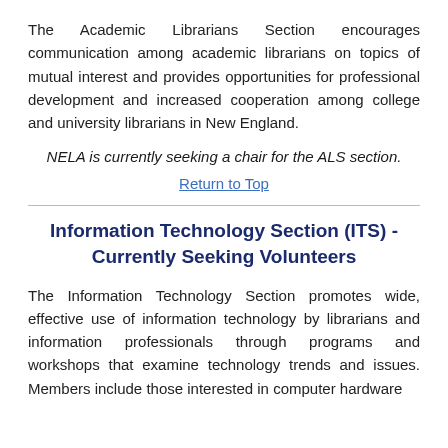The Academic Librarians Section encourages communication among academic librarians on topics of mutual interest and provides opportunities for professional development and increased cooperation among college and university librarians in New England.
NELA is currently seeking a chair for the ALS section.
Return to Top
Information Technology Section (ITS) - Currently Seeking Volunteers
The Information Technology Section promotes wide, effective use of information technology by librarians and information professionals through programs and workshops that examine technology trends and issues. Members include those interested in computer hardware